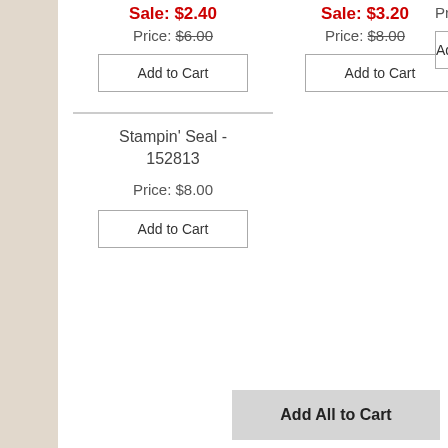Sale: $2.40
Price: $6.00
Add to Cart
Sale: $3.20
Price: $8.00
Add to Cart
Price: $
Add to C
Stampin' Seal - 152813
Price: $8.00
Add to Cart
Add All to Cart